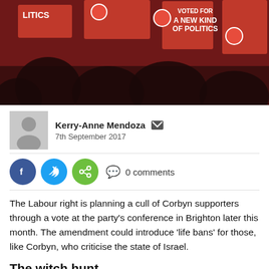[Figure (photo): Crowd of people holding red Labour party signs reading 'A NEW KIND OF POLITICS' at a rally]
Kerry-Anne Mendoza  [email icon]
7th September 2017
0 comments
The Labour right is planning a cull of Corbyn supporters through a vote at the party's conference in Brighton later this month. The amendment could introduce 'life bans' for those, like Corbyn, who criticise the state of Israel.
The witch hunt
A motion has been put forward by the pro-Israel Jewish Labour Movement (JLM), supported by several Constituency Labour